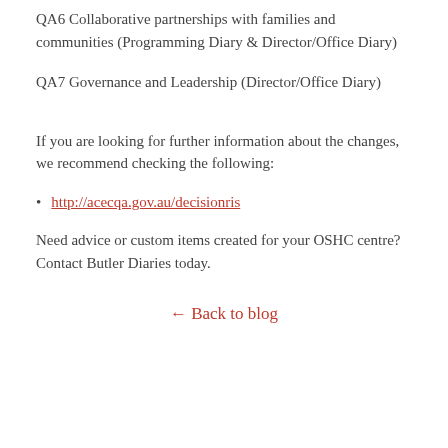QA6 Collaborative partnerships with families and communities (Programming Diary & Director/Office Diary)
QA7 Governance and Leadership (Director/Office Diary)
If you are looking for further information about the changes, we recommend checking the following:
http://acecqa.gov.au/decisionris
Need advice or custom items created for your OSHC centre? Contact Butler Diaries today.
← Back to blog